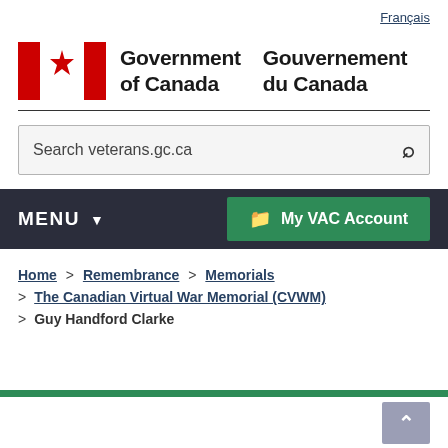Français
[Figure (logo): Government of Canada / Gouvernement du Canada logo with Canadian flag (red and white maple leaf flag)]
Search veterans.gc.ca
MENU    My VAC Account
Home > Remembrance > Memorials > The Canadian Virtual War Memorial (CVWM) > Guy Handford Clarke